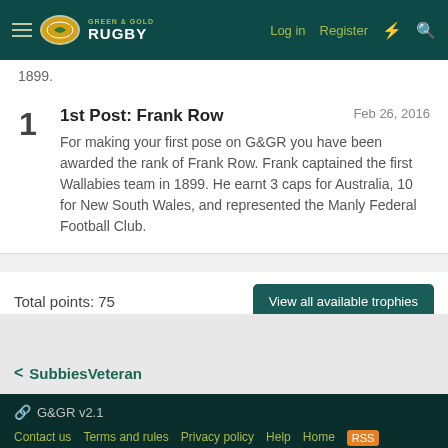Green & Gold Rugby — Log in  Register
1899.
1st Post: Frank Row
Feb 26, 2016
For making your first pose on G&GR you have been awarded the rank of Frank Row. Frank captained the first Wallabies team in 1899. He earnt 3 caps for Australia, 10 for New South Wales, and represented the Manly Federal Football Club.
Total points: 75
View all available trophies
< SubbiesVeteran
G&GR v2.1  Contact us  Terms and rules  Privacy policy  Help  Home  Community platform by XenForo® © 2010-2021 XenForo Ltd.